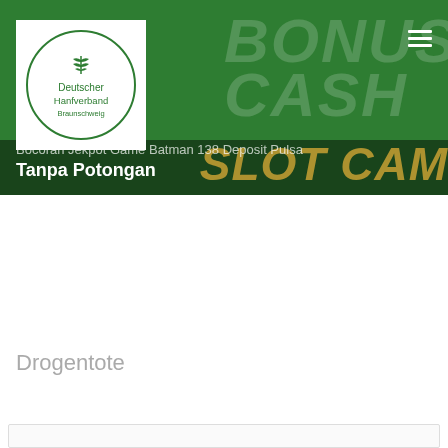[Figure (screenshot): Green banner header with Deutscher Hanfverband Braunschweig logo (white box, circular green border with hemp leaf icon), hamburger menu icon top right, faded 'BONUS CASH' text watermark, 'Bocoran Jekpot Game Batman 138 Deposit Pulsa' text, 'Tanpa Potongan' text, and 'SLOT CAM' text overlay on dark bar at bottom of banner]
Drogentote